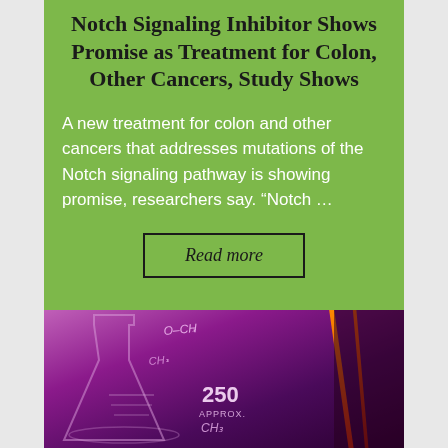Notch Signaling Inhibitor Shows Promise as Treatment for Colon, Other Cancers, Study Shows
A new treatment for colon and other cancers that addresses mutations of the Notch signaling pathway is showing promise, researchers say. “Notch ...
Read more
[Figure (photo): Laboratory photo with pink/purple tint showing glass beakers with chemical formulas and measurement markings (250, APPROX) overlaid, with orange/red diagonal lines on the right side]